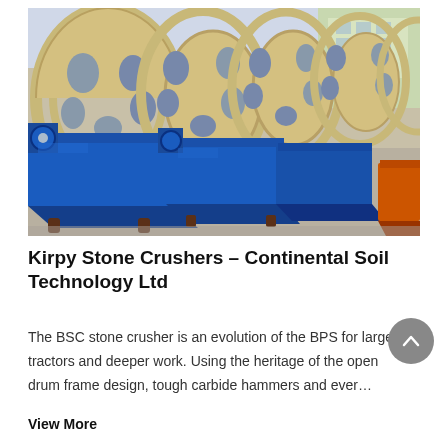[Figure (photo): Industrial photo of blue metal stone crusher/washing machine units with cream/tan rotating drum frames lined up in a factory or yard setting. Multiple blue hopper/trough units visible in a row with large open-frame drum wheels above.]
Kirpy Stone Crushers – Continental Soil Technology Ltd
The BSC stone crusher is an evolution of the BPS for larger tractors and deeper work. Using the heritage of the open drum frame design, tough carbide hammers and ever…
View More